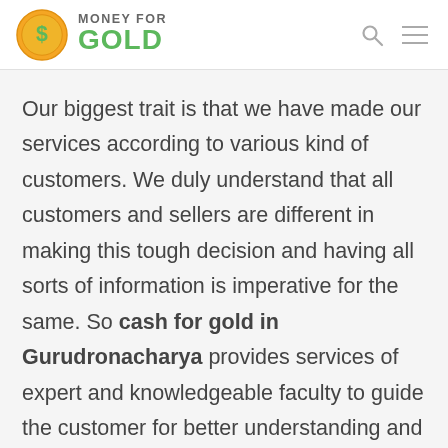MONEY FOR GOLD
Our biggest trait is that we have made our services according to various kind of customers. We duly understand that all customers and sellers are different in making this tough decision and having all sorts of information is imperative for the same. So cash for gold in Gurudronacharya provides services of expert and knowledgeable faculty to guide the customer for better understanding and help them to make their